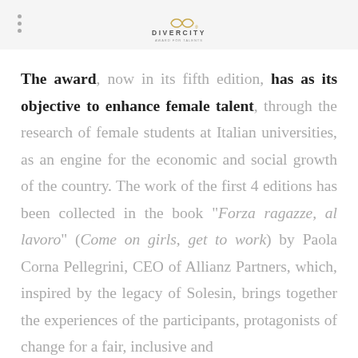DIVERCITY
The award, now in its fifth edition, has as its objective to enhance female talent, through the research of female students at Italian universities, as an engine for the economic and social growth of the country. The work of the first 4 editions has been collected in the book "Forza ragazze, al lavoro" (Come on girls, get to work) by Paola Corna Pellegrini, CEO of Allianz Partners, which, inspired by the legacy of Solesin, brings together the experiences of the participants, protagonists of change for a fair, inclusive and